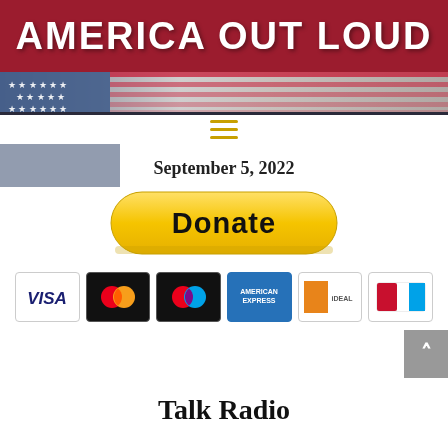AMERICA OUT LOUD
[Figure (logo): America Out Loud logo with red banner, white stars on blue, and American flag design]
September 5, 2022
[Figure (illustration): Yellow PayPal-style Donate button with rounded corners]
[Figure (illustration): Row of payment method icons: Visa, Mastercard, Maestro, American Express, Discover/iDEAL, and one more card logo]
Talk Radio